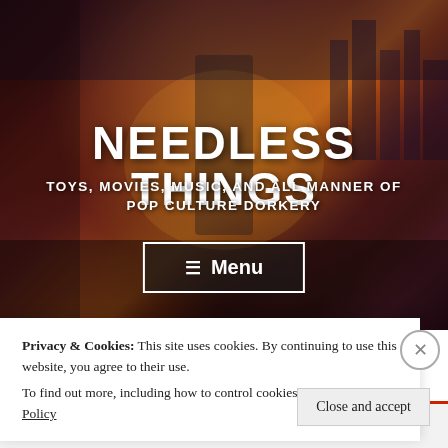[Figure (illustration): Hero banner image with RoboCop movie artwork showing armored figure center, explosion behind, various characters on sides, dark red/orange cinematic background]
NEEDLESS THINGS
TOYS, MOVIES, MUSIC, AND ALL MANNER OF POP CULTURE DORKERY
≡ Menu
Privacy & Cookies: This site uses cookies. By continuing to use this website, you agree to their use.
To find out more, including how to control cookies, see here: Cookie Policy
Close and accept